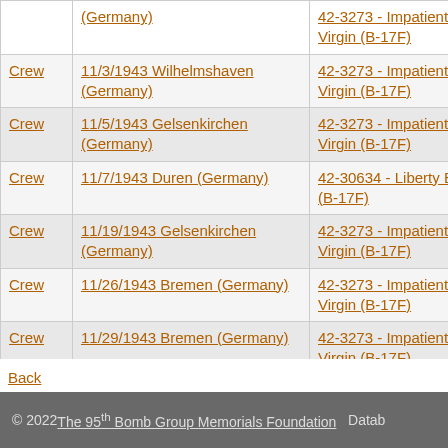|  | Mission | Aircraft |  |
| --- | --- | --- | --- |
|  | (Germany) | 42-3273 - Impatient Virgin (B-17F) | Barrack |
| Crew | 11/3/1943 Wilhelmshaven (Germany) | 42-3273 - Impatient Virgin (B-17F) | H.H. Be |
| Crew | 11/5/1943 Gelsenkirchen (Germany) | 42-3273 - Impatient Virgin (B-17F) | H.H. Be |
| Crew | 11/7/1943 Duren (Germany) | 42-30634 - Liberty Belle (B-17F) | H.H. Be |
| Crew | 11/19/1943 Gelsenkirchen (Germany) | 42-3273 - Impatient Virgin (B-17F) | H.H. Be |
| Crew | 11/26/1943 Bremen (Germany) | 42-3273 - Impatient Virgin (B-17F) | O.E. Tigerma |
| Crew | 11/29/1943 Bremen (Germany) | 42-3273 - Impatient Virgin (B-17F) | H.H. Be |
| Crew | 11/30/1943 Solingen (Wermelken) (Germany) | 42-3095 - Peggy Ann (B-17F) | H.H. Be |
Back
© 2022 The 95th Bomb Group Memorials Foundation  Datab